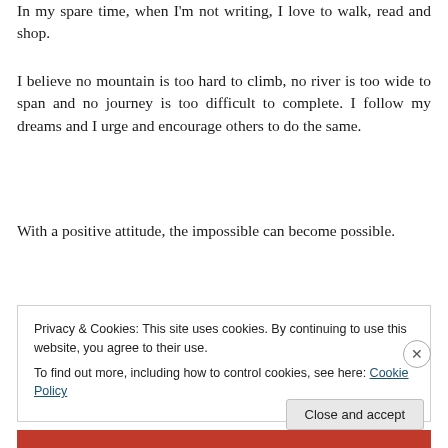In my spare time, when I'm not writing, I love to walk, read and shop.
I believe no mountain is too hard to climb, no river is too wide to span and no journey is too difficult to complete. I follow my dreams and I urge and encourage others to do the same.
With a positive attitude, the impossible can become possible.
Privacy & Cookies: This site uses cookies. By continuing to use this website, you agree to their use.
To find out more, including how to control cookies, see here: Cookie Policy
Close and accept